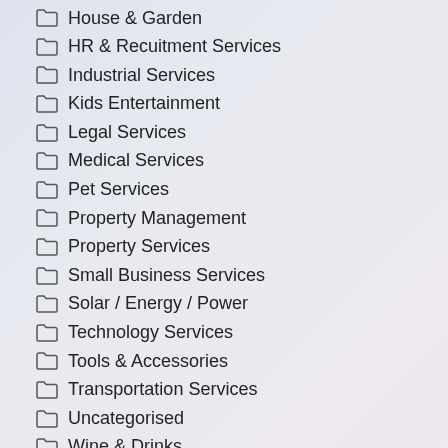House & Garden
HR & Recuitment Services
Industrial Services
Kids Entertainment
Legal Services
Medical Services
Pet Services
Property Management
Property Services
Small Business Services
Solar / Energy / Power
Technology Services
Tools & Accessories
Transportation Services
Uncategorised
Wine & Drinks